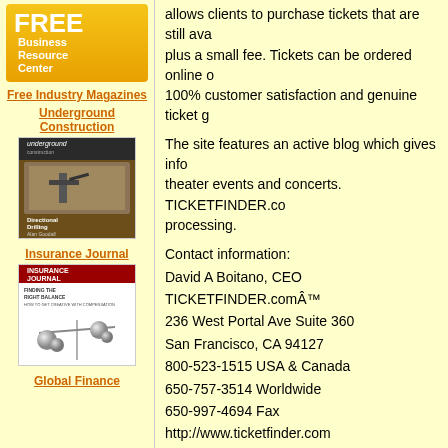[Figure (logo): FREE Business Resource Center banner with gold/yellow gradient background and white text]
Free Industry Magazines
Underground Construction
[Figure (photo): Underground Construction magazine cover showing directional drilling equipment]
Insurance Journal
[Figure (photo): Insurance Journal magazine cover showing Finding the Right Balance with metallic spheres on a balance]
Global Finance
allows clients to purchase tickets that are still available at face value plus a small fee. Tickets can be ordered online or by phone ensuring 100% customer satisfaction and genuine ticket g
The site features an active blog which gives info on upcoming theater events and concerts. TICKETFINDER.co processing.
Contact information:
David A Boitano, CEO
TICKETFINDER.comÂ™
236 West Portal Ave Suite 360
San Francisco, CA 94127
800-523-1515 USA & Canada
650-757-3514 Worldwide
650-997-4694 Fax
http://www.ticketfinder.com
http://www.ticketfinder.com/blog
###
Ticket Finder
David A Boitano
1-800-523-1515
david@ticketfinder.com
Source: EmailWire.com